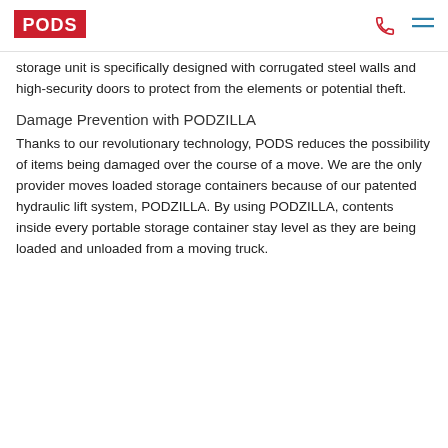PODS
storage unit is specifically designed with corrugated steel walls and high-security doors to protect from the elements or potential theft.
Damage Prevention with PODZILLA
Thanks to our revolutionary technology, PODS reduces the possibility of items being damaged over the course of a move. We are the only provider moves loaded storage containers because of our patented hydraulic lift system, PODZILLA. By using PODZILLA, contents inside every portable storage container stay level as they are being loaded and unloaded from a moving truck.